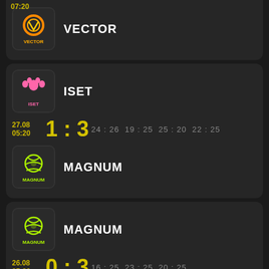07:20
[Figure (logo): VECTOR team logo - orange neon circular design on dark background]
VECTOR
[Figure (logo): ISET team logo - pink paw print icon on dark background]
ISET
27.08 05:20
1 : 3
24 : 26  19 : 25  25 : 20  22 : 25
[Figure (logo): MAGNUM team logo - green swirl volleyball icon on dark background]
MAGNUM
[Figure (logo): MAGNUM team logo - green swirl volleyball icon on dark background]
MAGNUM
26.08 05:20
0 : 3
16 : 25  23 : 25  20 : 25
[Figure (logo): ISET team logo - pink paw print icon on dark background]
ISET